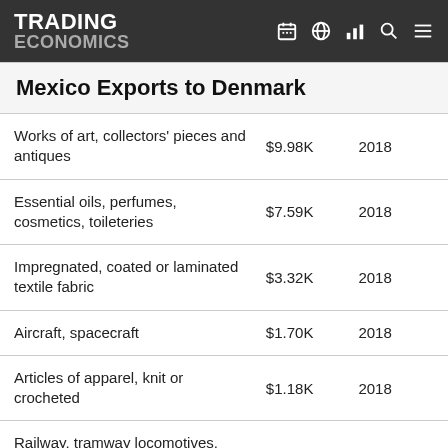TRADING ECONOMICS
Mexico Exports to Denmark
| Product | Value | Year |
| --- | --- | --- |
| Works of art, collectors' pieces and antiques | $9.98K | 2018 |
| Essential oils, perfumes, cosmetics, toileteries | $7.59K | 2018 |
| Impregnated, coated or laminated textile fabric | $3.32K | 2018 |
| Aircraft, spacecraft | $1.70K | 2018 |
| Articles of apparel, knit or crocheted | $1.18K | 2018 |
| Railway, tramway locomotives, rolling stock, equipment | $1.1K | 2018 |
| Special woven or tufted fabric, lace, | $366 | 2018 |